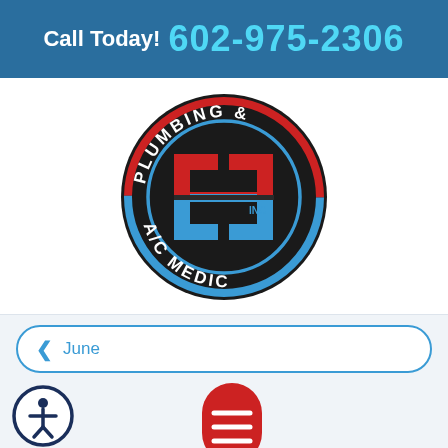Call Today! 602-975-2306
[Figure (logo): Plumbing & A/C Medic Inc circular logo with red and blue JL-shaped pipe symbols on dark background]
June
How to Choose the Right